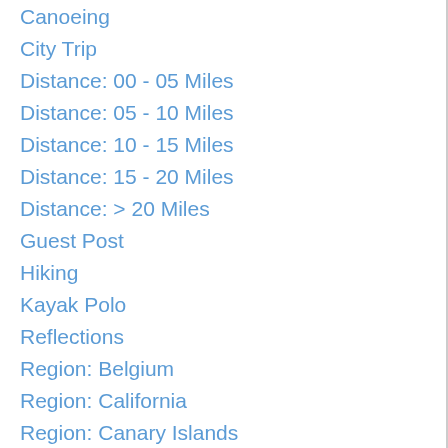Canoeing
City Trip
Distance: 00 - 05 Miles
Distance: 05 - 10 Miles
Distance: 10 - 15 Miles
Distance: 15 - 20 Miles
Distance: > 20 Miles
Guest Post
Hiking
Kayak Polo
Reflections
Region: Belgium
Region: California
Region: Canary Islands
Region: Croatia
Region: France
Region: Great Lakes
Region: Greece
Region: Italy